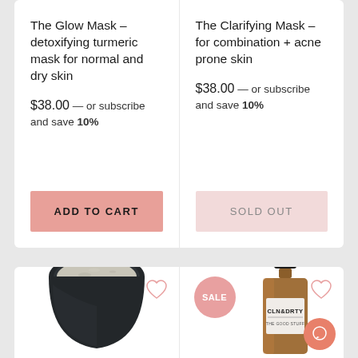The Glow Mask – detoxifying turmeric mask for normal and dry skin
$38.00 — or subscribe and save 10%
ADD TO CART
The Clarifying Mask – for combination + acne prone skin
$38.00 — or subscribe and save 10%
SOLD OUT
[Figure (photo): Open jar of white/grey clay mask powder viewed from above, dark lid]
[Figure (photo): Amber glass dropper bottle with CLN&DRTY label, SALE badge in pink circle]